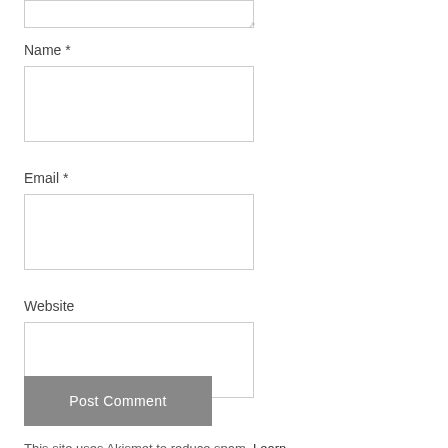Name *
Email *
Website
Post Comment
This site uses Akismet to reduce spam. Learn how your comment data is processed